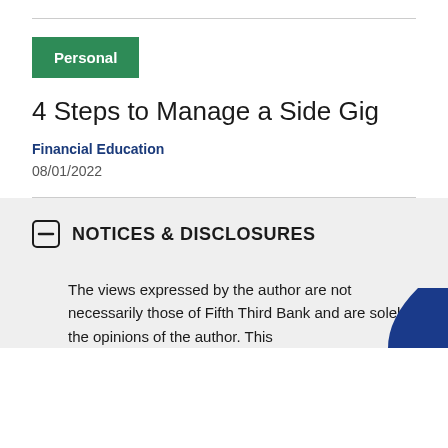[Figure (logo): Green tag/badge labeled Personal]
4 Steps to Manage a Side Gig
Financial Education
08/01/2022
NOTICES & DISCLOSURES
The views expressed by the author are not necessarily those of Fifth Third Bank and are solely the opinions of the author. This